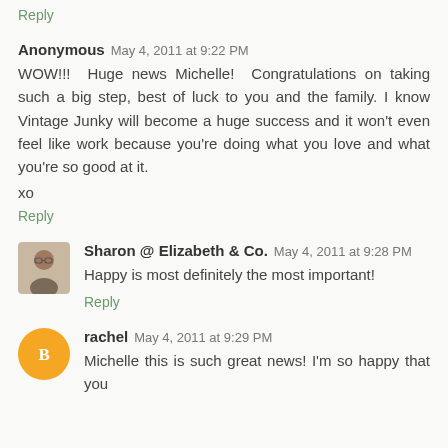Reply
Anonymous  May 4, 2011 at 9:22 PM
WOW!!!  Huge news Michelle!  Congratulations on taking such a big step, best of luck to you and the family. I know Vintage Junky will become a huge success and it won't even feel like work because you're doing what you love and what you're so good at it.
xo
Reply
Sharon @ Elizabeth & Co.  May 4, 2011 at 9:28 PM
Happy is most definitely the most important!
Reply
rachel  May 4, 2011 at 9:29 PM
Michelle this is such great news! I'm so happy that you